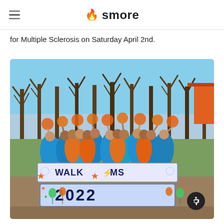smore
for Multiple Sclerosis on Saturday April 2nd.
[Figure (photo): Group of students in blue and orange shirts holding orange pom-poms outdoors at Walk MS 2022 event, standing in front of a large decorative sign reading WALK MS 2022 with stars and balloons, trees and orange tent in background.]